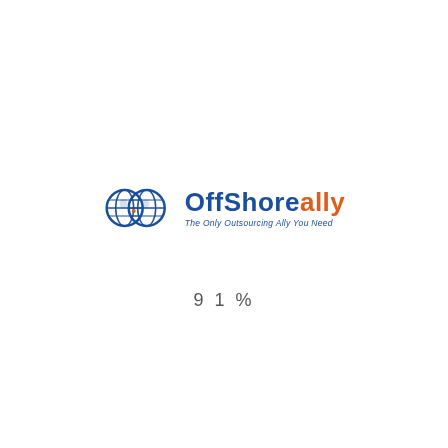[Figure (logo): OffShoreally logo with two globe icons and text 'OffShoreally – The Only Outsourcing Ally You Need']
91%